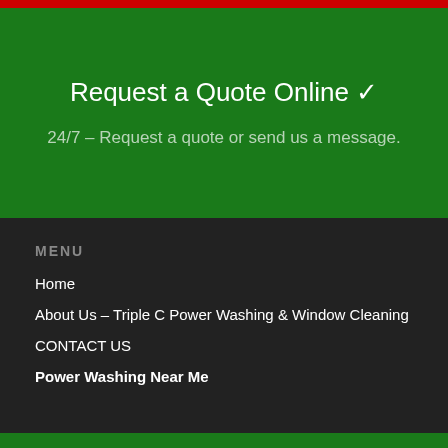Request a Quote Online ✓
24/7 – Request a quote or send us a message.
MENU
Home
About Us – Triple C Power Washing & Window Cleaning
CONTACT US
Power Washing Near Me
Click here to call us!